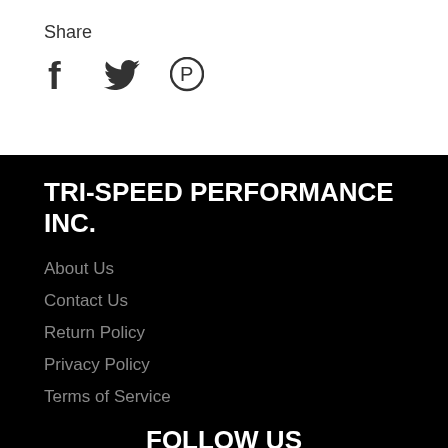Share
[Figure (illustration): Social share icons: Facebook (f), Twitter (bird), Pinterest (P)]
TRI-SPEED PERFORMANCE INC.
About Us
Contact Us
Return Policy
Privacy Policy
Terms of Service
FOLLOW US
[Figure (illustration): Social media follow icons at bottom]